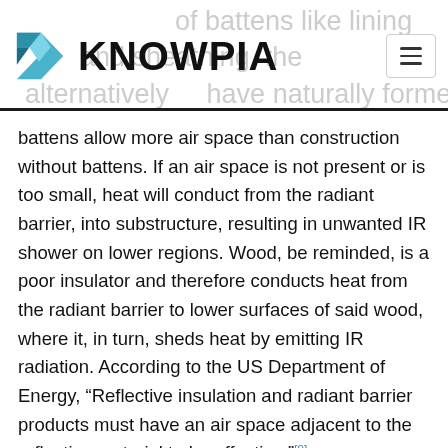KNOWPIA
battens allow more air space than construction without battens. If an air space is not present or is too small, heat will conduct from the radiant barrier, into substructure, resulting in unwanted IR shower on lower regions. Wood, be reminded, is a poor insulator and therefore conducts heat from the radiant barrier to lower surfaces of said wood, where it, in turn, sheds heat by emitting IR radiation. According to the US Department of Energy, “Reflective insulation and radiant barrier products must have an air space adjacent to the reflective material to be effective.”[9]
The most common application for a radiant barri as a facing for attics. For a traditional shingle/tile/iron roof, radiant barriers may be applied beneath the